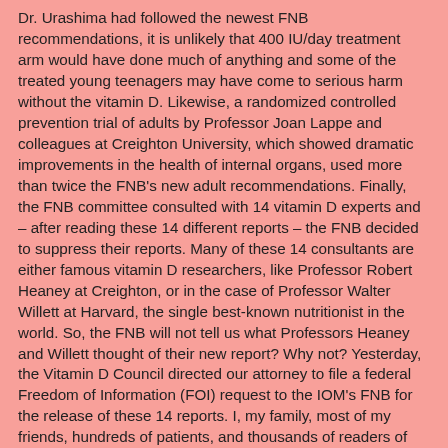Dr. Urashima had followed the newest FNB recommendations, it is unlikely that 400 IU/day treatment arm would have done much of anything and some of the treated young teenagers may have come to serious harm without the vitamin D. Likewise, a randomized controlled prevention trial of adults by Professor Joan Lappe and colleagues at Creighton University, which showed dramatic improvements in the health of internal organs, used more than twice the FNB's new adult recommendations. Finally, the FNB committee consulted with 14 vitamin D experts and – after reading these 14 different reports – the FNB decided to suppress their reports. Many of these 14 consultants are either famous vitamin D researchers, like Professor Robert Heaney at Creighton, or in the case of Professor Walter Willett at Harvard, the single best-known nutritionist in the world. So, the FNB will not tell us what Professors Heaney and Willett thought of their new report? Why not? Yesterday, the Vitamin D Council directed our attorney to file a federal Freedom of Information (FOI) request to the IOM's FNB for the release of these 14 reports. I, my family, most of my friends, hundreds of patients, and thousands of readers of the Vitamin D Council newsletter,